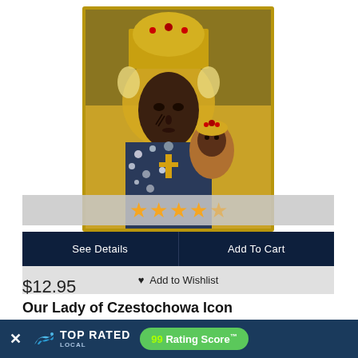[Figure (photo): Our Lady of Czestochowa Icon product image showing ornate religious icon with golden crown and jewels]
★★★★☆
See Details
Add To Cart
♥ Add to Wishlist
$12.95
Our Lady of Czestochowa Icon
[Figure (photo): Second product image partially visible at bottom]
✕ TOP RATED LOCAL  99 Rating Score™